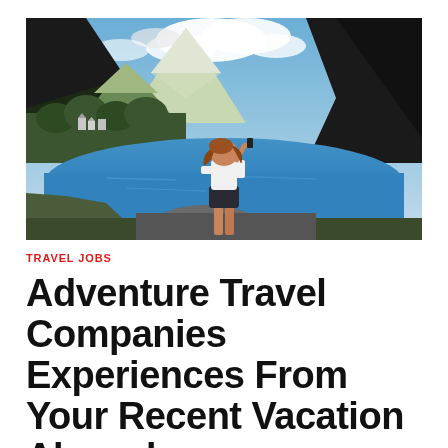[Figure (photo): Woman with long hair seen from behind, wearing white top and dark shorts, standing at the edge of a mountain lake taking a photo with her phone. Green forested mountains and snow-capped peaks in the background under a partly cloudy sky.]
TRAVEL JOBS
Adventure Travel Companies Experiences From Your Recent Vacation Abroad